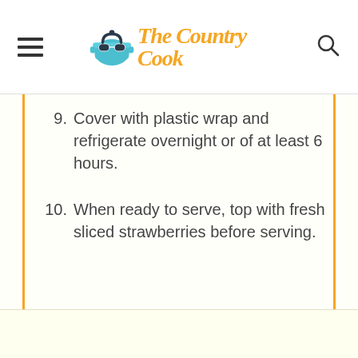The Country Cook
Cover with plastic wrap and refrigerate overnight or of at least 6 hours.
When ready to serve, top with fresh sliced strawberries before serving.